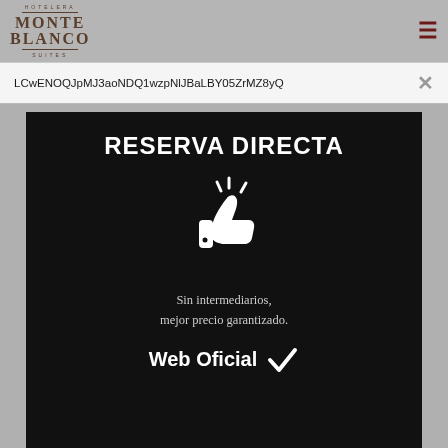[Figure (logo): Hotelera Monte Blanco Suites logo with text in brown serif font]
LCwENOQJpMJ3aoNDQ1wzpNlJBaLBY05ZrMZ8yQ
[Figure (infographic): Black background modal with white text RESERVA DIRECTA, thumbs up icon, text Sin intermediarios, mejor precio garantizado., and Web Oficial with checkmark]